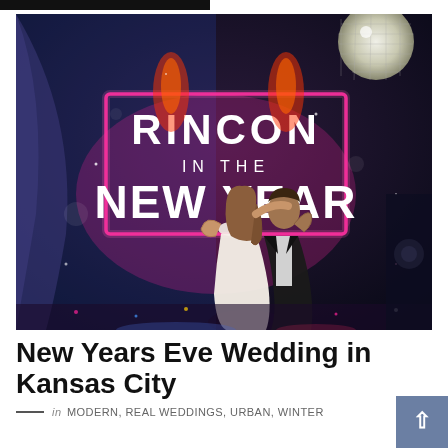[Figure (photo): Wedding couple dancing in front of a neon sign reading 'RINCON IN THE NEW YEAR' at a New Year's Eve wedding reception, with disco ball overhead and dramatic lighting]
New Years Eve Wedding in Kansas City
in MODERN, REAL WEDDINGS, URBAN, WINTER